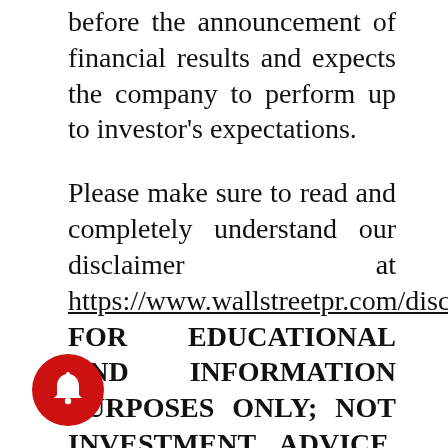before the announcement of financial results and expects the company to perform up to investor's expectations.
Please make sure to read and completely understand our disclaimer at https://www.wallstreetpr.com/disclaimer. FOR EDUCATIONAL AND INFORMATION PURPOSES ONLY; NOT INVESTMENT ADVICE. Any content posted on our website is for educational and informational purposes only and should NOT be construed as a securities-related offer or solicitation, or be relied on as personalized investment advice. WallStreetPR strongly recommends you
[Figure (illustration): Red circular notification bell icon in the bottom-left corner of the page]